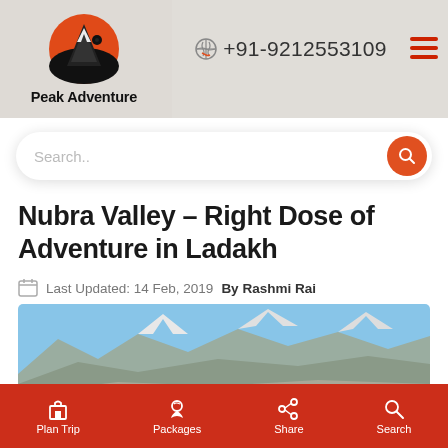Peak Adventure | +91-9212553109
Nubra Valley – Right Dose of Adventure in Ladakh
Last Updated: 14 Feb, 2019  By Rashmi Rai
[Figure (photo): Scenic mountain landscape of Nubra Valley, Ladakh with clear blue sky and snow-capped peaks]
Plan Trip | Packages | Share | Search